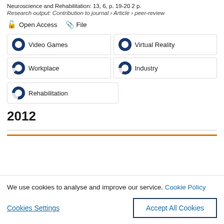Neuroscience and Rehabilitation: 13, 6, p. 19-20 2 p.
Research output: Contribution to journal › Article › peer-review
Open Access   File
Video Games
Virtual Reality
Workplace
Industry
Rehabilitation
2012
We use cookies to analyse and improve our service. Cookie Policy
Cookies Settings
Accept All Cookies